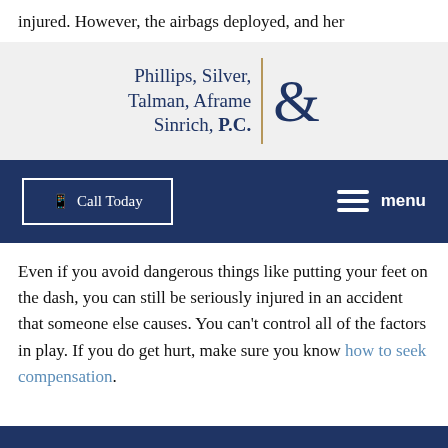injured. However, the airbags deployed, and her
[Figure (logo): Phillips, Silver, Talman, Aframe & Sinrich, P.C. law firm logo with navy text and gold vertical divider bar with ampersand]
[Figure (other): Navigation bar with 'Call Today' button and hamburger menu icon labeled 'menu']
Even if you avoid dangerous things like putting your feet on the dash, you can still be seriously injured in an accident that someone else causes. You can't control all of the factors in play. If you do get hurt, make sure you know how to seek compensation.